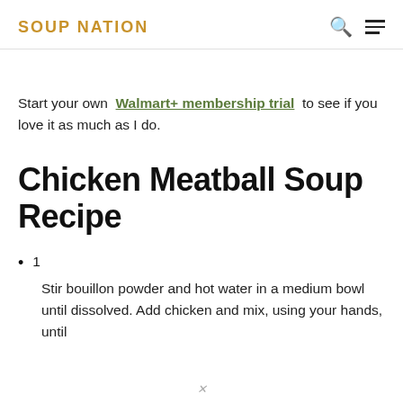SOUP NATION
Start your own Walmart+ membership trial to see if you love it as much as I do.
Chicken Meatball Soup Recipe
1
Stir bouillon powder and hot water in a medium bowl until dissolved. Add chicken and mix, using your hands, until